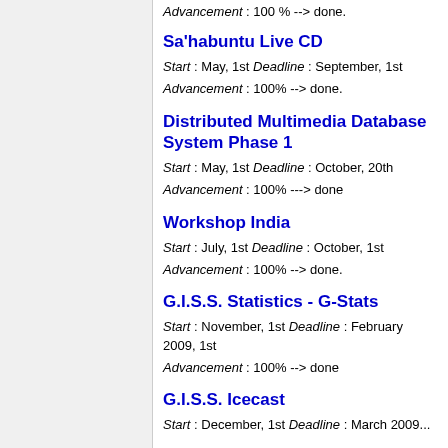Advancement : 100 % --> done.
Sa'habuntu Live CD
Start : May, 1st Deadline : September, 1st
Advancement : 100% --> done.
Distributed Multimedia Database System Phase 1
Start : May, 1st Deadline : October, 20th
Advancement : 100% ---> done
Workshop India
Start : July, 1st Deadline : October, 1st
Advancement : 100% --> done.
G.I.S.S. Statistics - G-Stats
Start : November, 1st Deadline : February 2009, 1st
Advancement : 100% --> done
G.I.S.S. Icecast
Start : December, 1st Deadline : March 2009...